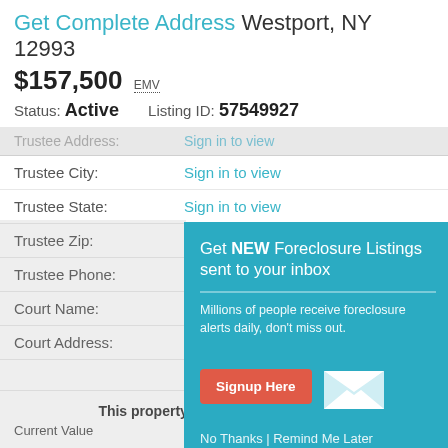Get Complete Address Westport, NY 12993
$157,500 EMV
Status: Active   Listing ID: 57549927
Trustee Address: Sign in to view
Trustee City: Sign in to view
Trustee State: Sign in to view
Trustee Zip:
Trustee Phone:
Court Name:
Court Address:
[Figure (infographic): Modal popup with teal background promoting foreclosure listing alerts. Contains heading 'Get NEW Foreclosure Listings sent to your inbox', subtext 'Millions of people receive foreclosure alerts daily, don't miss out.', a red 'Signup Here' button, a white mail envelope icon, and footer text 'No Thanks | Remind Me Later'.]
Potential Home Va...
This property has untapped potential!
Current Value   Potential Value